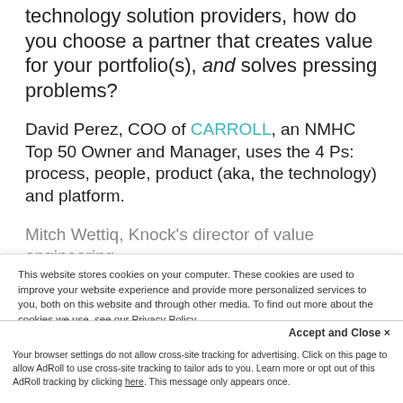technology solution providers, how do you choose a partner that creates value for your portfolio(s), and solves pressing problems?
David Perez, COO of CARROLL, an NMHC Top 50 Owner and Manager, uses the 4 Ps: process, people, product (aka, the technology) and platform.
Mitch Wettiq, Knock's director of value engineering
This website stores cookies on your computer. These cookies are used to improve your website experience and provide more personalized services to you, both on this website and through other media. To find out more about the cookies we use, see our Privacy Policy.
We won't track your information when you visit our site. But in order to comply with your preferences, we'll have to use just one tiny cookie so that you're not asked to make this choice again.
Accept and Close ×
Your browser settings do not allow cross-site tracking for advertising. Click on this page to allow AdRoll to use cross-site tracking to tailor ads to you. Learn more or opt out of this AdRoll tracking by clicking here. This message only appears once.